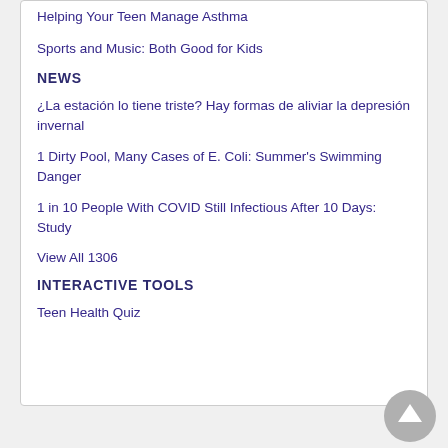Helping Your Teen Manage Asthma
Sports and Music: Both Good for Kids
NEWS
¿La estación lo tiene triste? Hay formas de aliviar la depresión invernal
1 Dirty Pool, Many Cases of E. Coli: Summer's Swimming Danger
1 in 10 People With COVID Still Infectious After 10 Days: Study
View All 1306
INTERACTIVE TOOLS
Teen Health Quiz